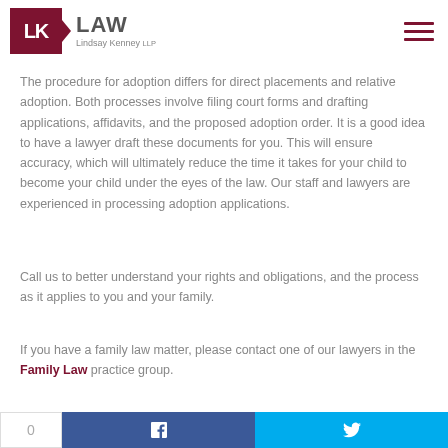[Figure (logo): LK Law - Lindsay Kenney LLP logo with dark red square containing LK letters and triangular arrow, followed by LAW text]
The procedure for adoption differs for direct placements and relative adoption. Both processes involve filing court forms and drafting applications, affidavits, and the proposed adoption order. It is a good idea to have a lawyer draft these documents for you. This will ensure accuracy, which will ultimately reduce the time it takes for your child to become your child under the eyes of the law. Our staff and lawyers are experienced in processing adoption applications.
Call us to better understand your rights and obligations, and the process as it applies to you and your family.
If you have a family law matter, please contact one of our lawyers in the Family Law practice group.